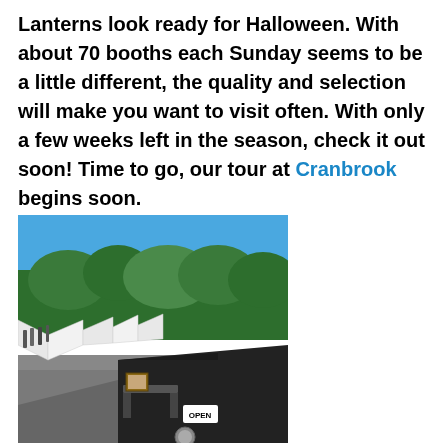Lanterns look ready for Halloween. With about 70 booths each Sunday seems to be a little different, the quality and selection will make you want to visit often. With only a few weeks left in the season, check it out soon! Time to go, our tour at Cranbrook begins soon.
[Figure (photo): Outdoor market or fair with white vendor tents lining a road, people walking along them, trees and blue sky in background, black tent in foreground with OPEN sign visible.]